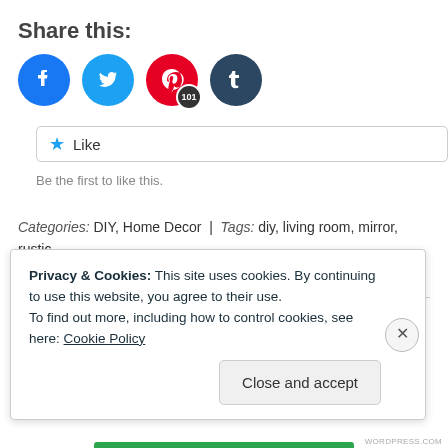Share this:
[Figure (infographic): Four social share icon buttons: Facebook (blue), Twitter (cyan), Pinterest (red, with badge showing 101), Tumblr (dark blue-grey)]
Like  Be the first to like this.
Categories: DIY, Home Decor | Tags: diy, living room, mirror, rustic, spray paint, window pane | Permalink.
Everyday Mantel
Privacy & Cookies: This site uses cookies. By continuing to use this website, you agree to their use.
To find out more, including how to control cookies, see here: Cookie Policy
Close and accept